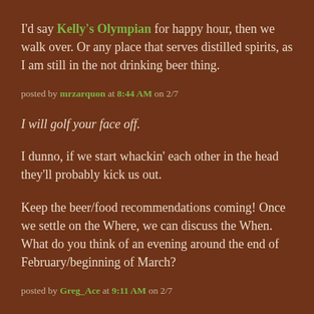I'd say Kelly's Olympian for happy hour, then we walk over. Or any place that serves distilled spirits, as I am still in the not drinking beer thing.
posted by mrzarquon at 8:44 AM on 2/7
I will golf your face off.
I dunno, if we start whackin' each other in the head they'll probably kick us out.
Keep the beer/food recommendations coming! Once we settle on the Where, we can discuss the When. What do you think of an evening around the end of February/beginning of March?
posted by Greg_Ace at 9:11 AM on 2/7